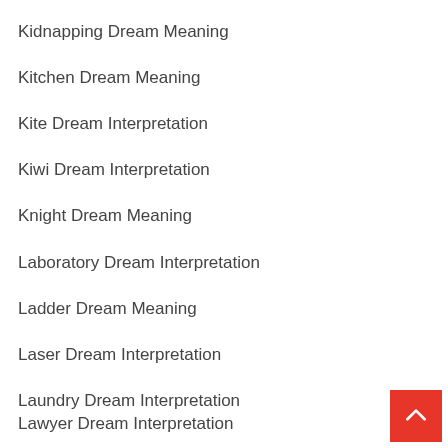Kidnapping Dream Meaning
Kitchen Dream Meaning
Kite Dream Interpretation
Kiwi Dream Interpretation
Knight Dream Meaning
Laboratory Dream Interpretation
Ladder Dream Meaning
Laser Dream Interpretation
Laundry Dream Interpretation
Lawyer Dream Interpretation